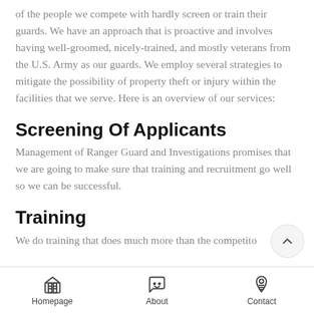of the people we compete with hardly screen or train their guards. We have an approach that is proactive and involves having well-groomed, nicely-trained, and mostly veterans from the U.S. Army as our guards. We employ several strategies to mitigate the possibility of property theft or injury within the facilities that we serve. Here is an overview of our services:
Screening Of Applicants
Management of Ranger Guard and Investigations promises that we are going to make sure that training and recruitment go well so we can be successful.
Training
We do training that does much more than the competito
Homepage   About   Contact